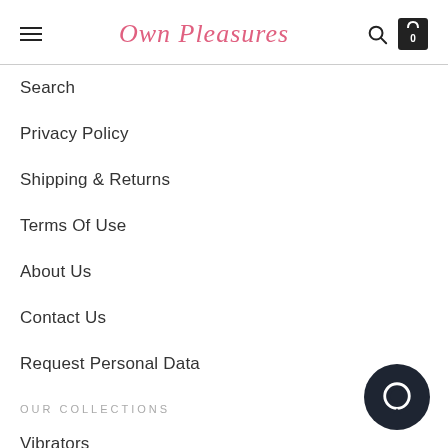Own Pleasures
Search
Privacy Policy
Shipping & Returns
Terms Of Use
About Us
Contact Us
Request Personal Data
OUR COLLECTIONS
Vibrators
Dildos
Vagina Balls